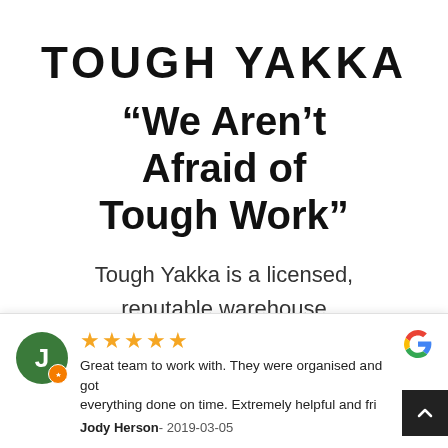[Figure (logo): Tough Yakka logo in bold black uppercase letters with stylized font]
“We Aren’t Afraid of Tough Work”
Tough Yakka is a licensed, reputable warehouse
[Figure (other): Google review card with 5 stars, avatar with letter J, review text from Jody Herson dated 2019-03-05 reading: Great team to work with. They were organised and got everything done on time. Extremely helpful and fri[endly]]